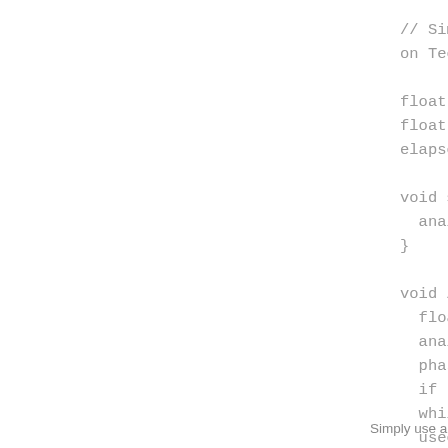// Simple...
on Teensy...

float pha...
float two...
elapsedMi...

void setup...
  analogW...
}

void loop...
  float v...
  analogW...
  phase =...
  if (pha...
  while (...
  usec =...
}
Simply use an...